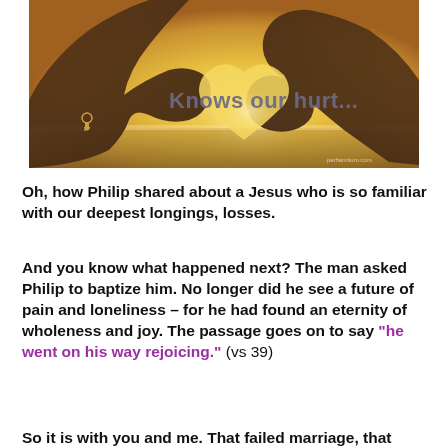[Figure (photo): Hands forming a heart shape against a warm golden sunset sky over water, with text overlay reading 'Knows our hurt...']
Oh, how Philip shared about a Jesus who is so familiar with our deepest longings, losses.
And you know what happened next? The man asked Philip to baptize him. No longer did he see a future of pain and loneliness – for he had found an eternity of wholeness and joy. The passage goes on to say “he went on his way rejoicing.” (vs 39)
So it is with you and me. That failed marriage, that